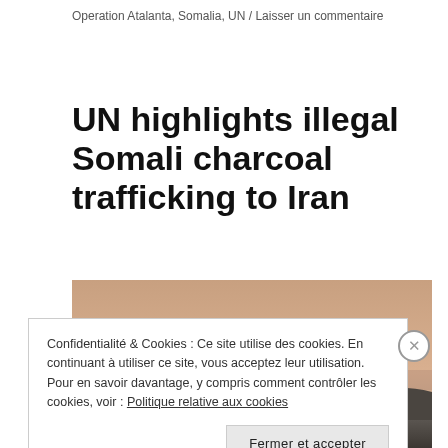Operation Atalanta, Somalia, UN / Laisser un commentaire
UN highlights illegal Somali charcoal trafficking to Iran
[Figure (photo): Landscape photo showing a coastal or harbour scene at dusk/sunset with silhouetted terrain and hazy sky in pinkish-orange tones]
Confidentialité & Cookies : Ce site utilise des cookies. En continuant à utiliser ce site, vous acceptez leur utilisation. Pour en savoir davantage, y compris comment contrôler les cookies, voir : Politique relative aux cookies
Fermer et accepter